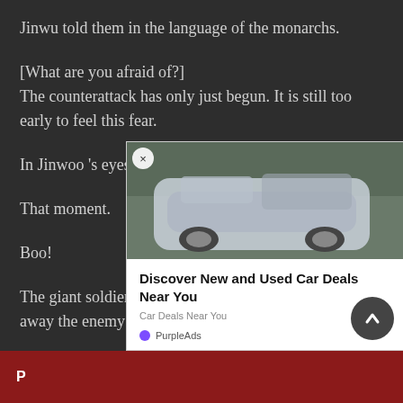Jinwu told them in the language of the monarchs.
[What are you afraid of?]
The counterattack has only just begun. It is still too early to feel this fear.
In Jinwoo 's eyes, an eerie Aunggwang shone.
That moment.
Boo!
The giant soldier pushed as hard as he could, sweeping away the enemy as a toy.
Kwag
[Figure (other): Advertisement overlay showing a silver SUV with text 'Discover New and Used Car Deals Near You' and PurpleAds branding]